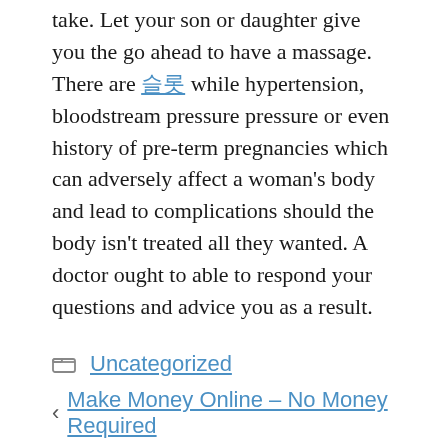take. Let your son or daughter give you the go ahead to have a massage. There are 슬롯 while hypertension, bloodstream pressure pressure or even history of pre-term pregnancies which can adversely affect a woman's body and lead to complications should the body isn't treated all they wanted. A doctor ought to able to respond your questions and advice you as a result.
Categories: Uncategorized
< Make Money Online – No Money Required
> Neon Shutter Sunglasses – The Comeback
slot resmi